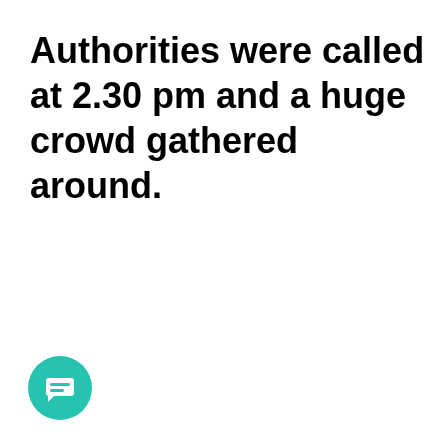Authorities were called at 2.30 pm and a huge crowd gathered around.
[Figure (illustration): Teal/green circular chat bubble icon with a white speech bubble symbol inside, positioned at bottom-left corner]